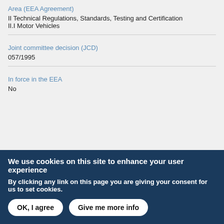Area (EEA Agreement)
II Technical Regulations, Standards, Testing and Certification
II.I Motor Vehicles
Joint committee decision (JCD)
057/1995
In force in the EEA
No
We use cookies on this site to enhance your user experience
By clicking any link on this page you are giving your consent for us to set cookies.